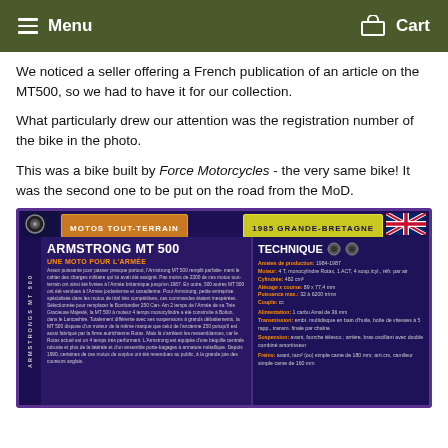Menu  Cart
We noticed a seller offering a French publication of an article on the MT500, so we had to have it for our collection.
What particularly drew our attention was the registration number of the bike in the photo.
This was a bike built by Force Motorcycles - the very same bike! It was the second one to be put on the road from the MoD.
[Figure (photo): French magazine card/article about the Armstrong MT 500 motorcycle, titled 'MOTOS TOUT-TERRAIN' and '1985 GRANDE-BRETAGNE', with sections 'ARMSTRONG MT 500', 'UNE MOTO POUR L'ARMÉE' and technical specifications on the right under 'TECHNIQUE'.]